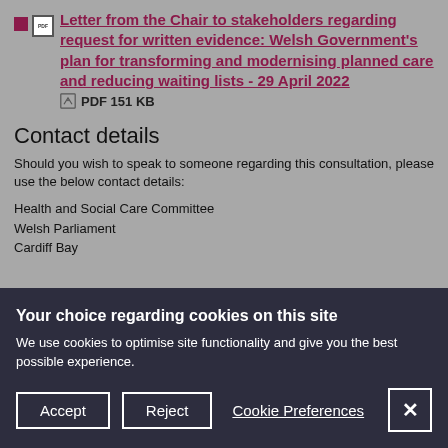Letter from the Chair to stakeholders regarding request for written evidence: Welsh Government's plan for transforming and modernising planned care and reducing waiting lists - 29 April 2022  PDF 151 KB
Contact details
Should you wish to speak to someone regarding this consultation, please use the below contact details:
Health and Social Care Committee
Welsh Parliament
Cardiff Bay
Your choice regarding cookies on this site
We use cookies to optimise site functionality and give you the best possible experience.